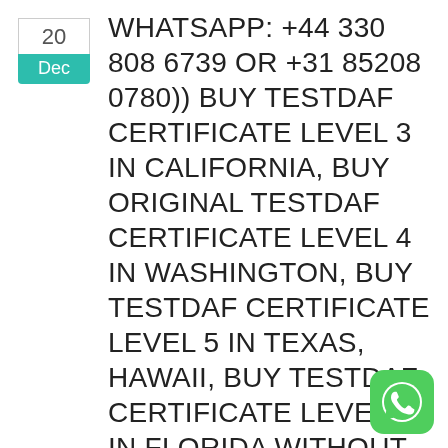20
Dec
WHATSAPP: +44 330 808 6739 OR +31 85208 0780)) BUY TESTDAF CERTIFICATE LEVEL 3 IN CALIFORNIA, BUY ORIGINAL TESTDAF CERTIFICATE LEVEL 4 IN WASHINGTON, BUY TESTDAF CERTIFICATE LEVEL 5 IN TEXAS, HAWAII, BUY TESTDAF CERTIFICATE LEVEL 4 IN FLORIDA WITHOUT THE EXAM, HOW TO BUY TESTDAF CERTIFICATE IN
[Figure (logo): WhatsApp green rounded square icon with phone handset graphic]